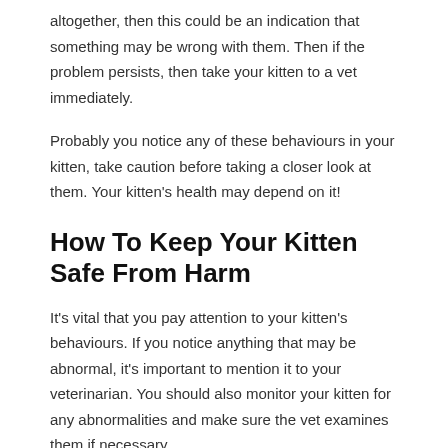altogether, then this could be an indication that something may be wrong with them. Then if the problem persists, then take your kitten to a vet immediately.
Probably you notice any of these behaviours in your kitten, take caution before taking a closer look at them. Your kitten's health may depend on it!
How To Keep Your Kitten Safe From Harm
It's vital that you pay attention to your kitten's behaviours. If you notice anything that may be abnormal, it's important to mention it to your veterinarian. You should also monitor your kitten for any abnormalities and make sure the vet examines them if necessary.
Here are some of the things to watch out for:
Lethargy